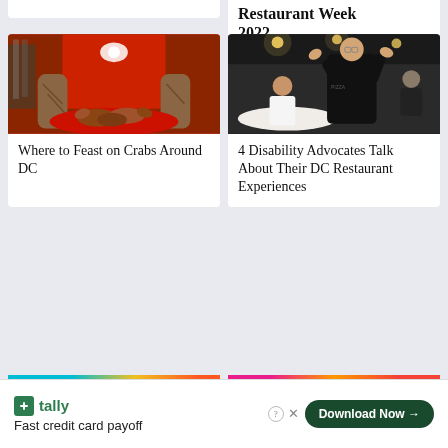Restaurant Week 2022
[Figure (photo): Person in red t-shirt with crab logo holding a red tray of crabs]
Where to Feast on Crabs Around DC
[Figure (photo): Man in dark jacket giving high five in a restaurant setting]
4 Disability Advocates Talk About Their DC Restaurant Experiences
[Figure (other): Tally advertisement - Fast credit card payoff with Download Now button]